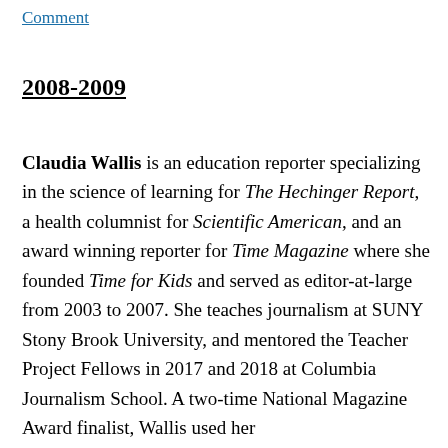Comment
2008-2009
Claudia Wallis is an education reporter specializing in the science of learning for The Hechinger Report, a health columnist for Scientific American, and an award winning reporter for Time Magazine where she founded Time for Kids and served as editor-at-large from 2003 to 2007. She teaches journalism at SUNY Stony Brook University, and mentored the Teacher Project Fellows in 2017 and 2018 at Columbia Journalism School. A two-time National Magazine Award finalist, Wallis used her